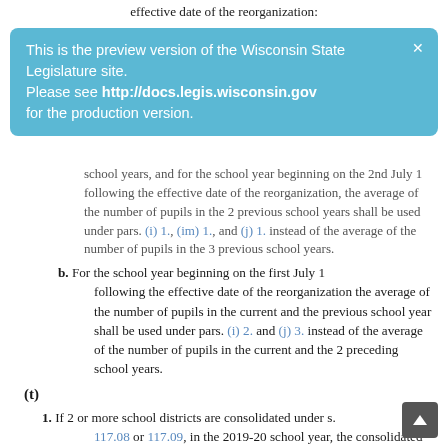effective date of the reorganization:
This is the preview version of the Wisconsin State Legislature site. Please see http://docs.legis.wisconsin.gov for the production version.
school years, and for the school year beginning on the 2nd July 1 following the effective date of the reorganization, the average of the number of pupils in the 2 previous school years shall be used under pars. (i) 1., (im) 1., and (j) 1. instead of the average of the number of pupils in the 3 previous school years.
b. For the school year beginning on the first July 1 following the effective date of the reorganization the average of the number of pupils in the current and the previous school year shall be used under pars. (i) 2. and (j) 3. instead of the average of the number of pupils in the current and the 2 preceding school years.
(t)
1. If 2 or more school districts are consolidated under s. 117.08 or 117.09, in the 2019-20 school year, the consolidated school district's revenue limit shall be determined as provided under par. (im), in the 2020-21 school year, the consolidated school district's revenue limit shall be determined as provided under par. (j), a...